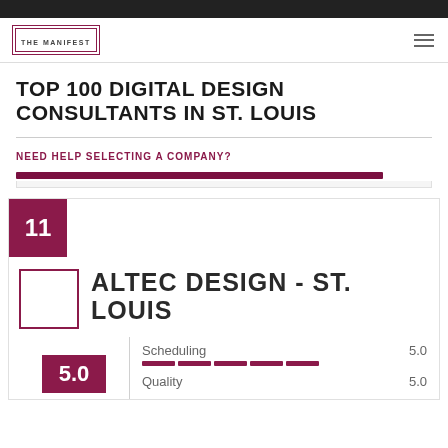THE MANIFEST
TOP 100 DIGITAL DESIGN CONSULTANTS IN ST. LOUIS
NEED HELP SELECTING A COMPANY?
11
ALTEC DESIGN - ST. LOUIS
Scheduling 5.0
Quality 5.0
5.0